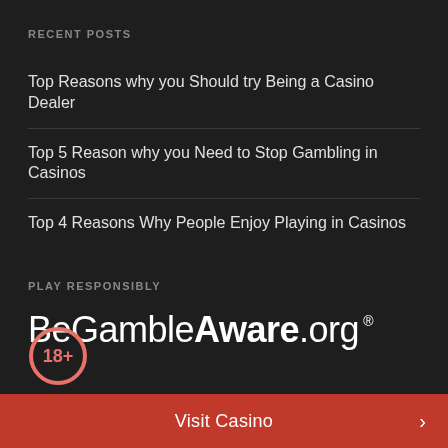RECENT POSTS
Top Reasons why you Should try Being a Casino Dealer
Top 5 Reason why you Need to Stop Gambling in Casinos
Top 4 Reasons Why People Enjoy Playing in Casinos
PLAY RESPONSIBLY
[Figure (logo): BeGambleAware.org logo with registered trademark symbol]
[Figure (illustration): 18+ age restriction badge circle in red/salmon color]
Visit Casino